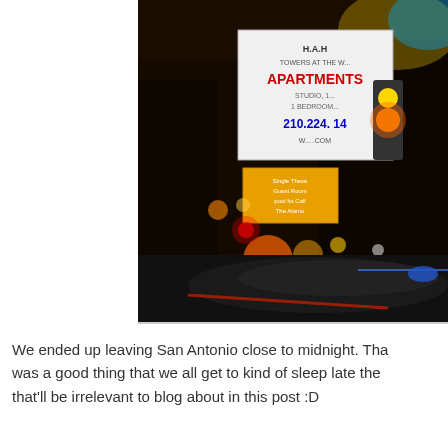[Figure (photo): Night street scene in San Antonio showing neon signs including an apartments advertisement with phone number 210-224-XXXX, traffic lights, and a car with motion blur on the street.]
We ended up leaving San Antonio close to midnight. That was a good thing that we all get to kind of sleep late the that'll be irrelevant to blog about in this post :D